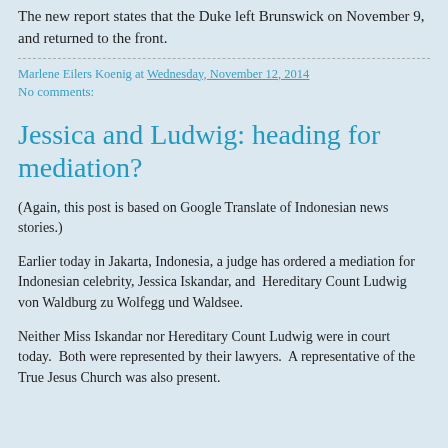The new report states that the Duke left Brunswick on November 9, and returned to the front.
Marlene Eilers Koenig at Wednesday, November 12, 2014
No comments:
Jessica and Ludwig: heading for mediation?
(Again, this post is based on Google Translate of Indonesian news stories.)
Earlier today in Jakarta, Indonesia, a judge has ordered a mediation for Indonesian celebrity, Jessica Iskandar, and  Hereditary Count Ludwig von Waldburg zu Wolfegg und Waldsee.
Neither Miss Iskandar nor Hereditary Count Ludwig were in court today.  Both were represented by their lawyers.  A representative of the True Jesus Church was also present.